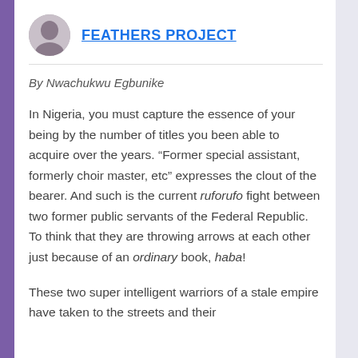FEATHERS PROJECT
By Nwachukwu Egbunike
In Nigeria, you must capture the essence of your being by the number of titles you been able to acquire over the years. “Former special assistant, formerly choir master, etc” expresses the clout of the bearer. And such is the current ruforufo fight between two former public servants of the Federal Republic. To think that they are throwing arrows at each other just because of an ordinary book, haba!
These two super intelligent warriors of a stale empire have taken to the streets and their